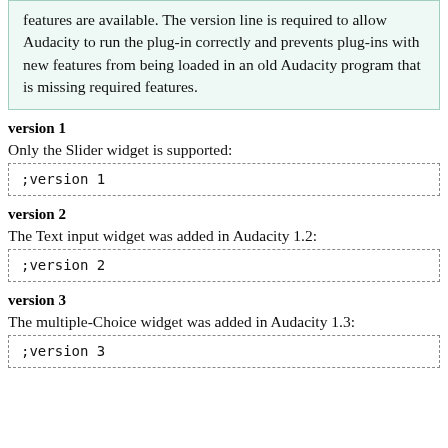features are available. The version line is required to allow Audacity to run the plug-in correctly and prevents plug-ins with new features from being loaded in an old Audacity program that is missing required features.
version 1
Only the Slider widget is supported:
;version 1
version 2
The Text input widget was added in Audacity 1.2:
;version 2
version 3
The multiple-Choice widget was added in Audacity 1.3:
;version 3